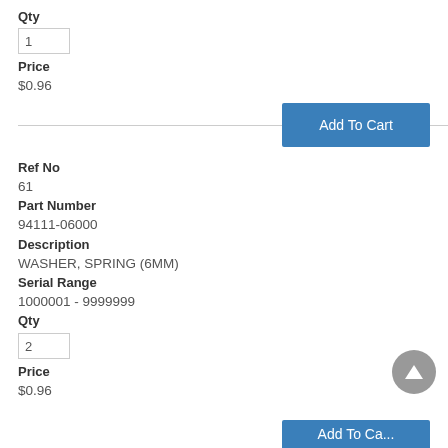Qty
1
Price
$0.96
Add To Cart
Ref No
61
Part Number
94111-06000
Description
WASHER, SPRING (6MM)
Serial Range
1000001 - 9999999
Qty
2
Price
$0.96
Add To Cart